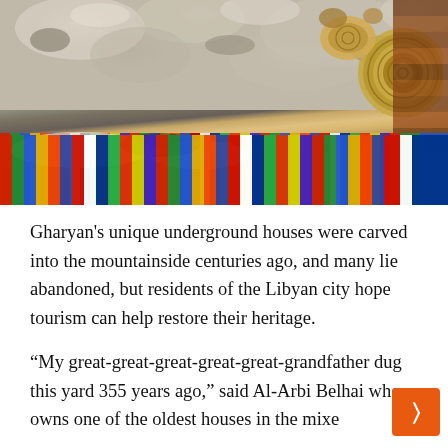[Figure (photo): Interior of an underground cave house in Gharyan, Libya. Rocky white/grey cave ceiling visible at top. Colorful striped rugs spread on the floor. Woven baskets and decorative items hanging on the walls and from the ceiling. Wooden wall planks on the right side with hanging wicker baskets.]
Gharyan's unique underground houses were carved into the mountainside centuries ago, and many lie abandoned, but residents of the Libyan city hope tourism can help restore their heritage.
“My great-great-great-great-great-grandfather dug this yard 355 years ago,” said Al-Arbi Belhai who owns one of the oldest houses in the mixe...